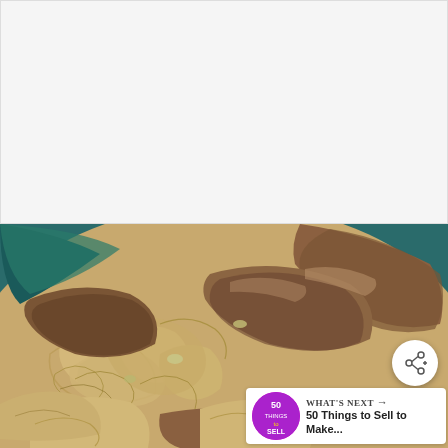[Figure (other): White/light gray advertisement banner placeholder in the upper half of the page]
[Figure (photo): Close-up photo of a bowl of ramen noodles with sliced pork/meat pieces in a teal/blue patterned bowl, shot from above at an angle]
[Figure (other): Share button icon (circular white button with share symbol and plus sign) overlaid on the right side of the food photo]
WHAT'S NEXT → 50 Things to Sell to Make...